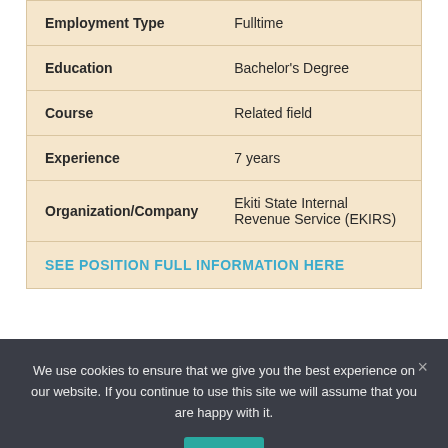| Field | Value |
| --- | --- |
| Employment Type | Fulltime |
| Education | Bachelor's Degree |
| Course | Related field |
| Experience | 7 years |
| Organization/Company | Ekiti State Internal Revenue Service (EKIRS) |
SEE POSITION FULL INFORMATION HERE
We use cookies to ensure that we give you the best experience on our website. If you continue to use this site we will assume that you are happy with it.